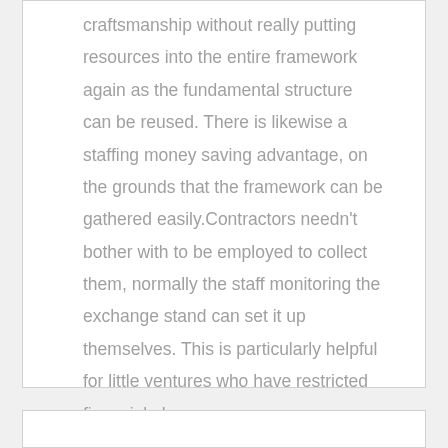craftsmanship without really putting resources into the entire framework again as the fundamental structure can be reused. There is likewise a staffing money saving advantage, on the grounds that the framework can be gathered easily.Contractors needn't bother with to be employed to collect them, normally the staff monitoring the exchange stand can set it up themselves. This is particularly helpful for little ventures who have restricted financial plans.…